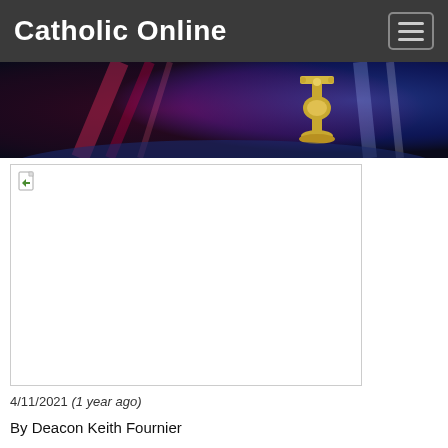Catholic Online
[Figure (photo): Catholic Online banner image with red and blue light rays and a golden ornate cross/chalice in the center-right]
[Figure (photo): Broken image placeholder with small page-with-arrow icon in the upper left corner, white background with grey border]
4/11/2021 (1 year ago)
By Deacon Keith Fournier